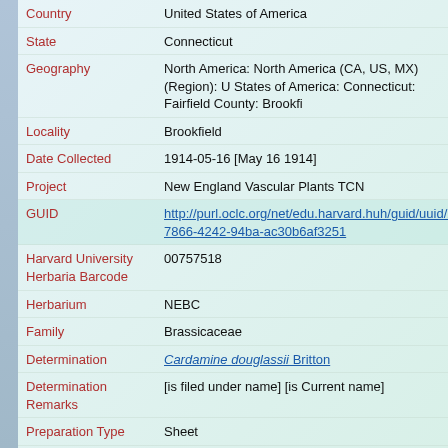| Field | Value |
| --- | --- |
| Country | United States of America |
| State | Connecticut |
| Geography | North America: North America (CA, US, MX) (Region): United States of America: Connecticut: Fairfield County: Brookfi… |
| Locality | Brookfield |
| Date Collected | 1914-05-16 [May 16 1914] |
| Project | New England Vascular Plants TCN |
| GUID | http://purl.oclc.org/net/edu.harvard.huh/guid/uuid/24c…7866-4242-94ba-ac30b6af3251 |
| Harvard University Herbaria Barcode | 00757518 |
| Herbarium | NEBC |
| Family | Brassicaceae |
| Determination | Cardamine douglassii Britton |
| Determination Remarks | [is filed under name] [is Current name] |
| Preparation Type | Sheet |
| Preparation Method | Pressed |